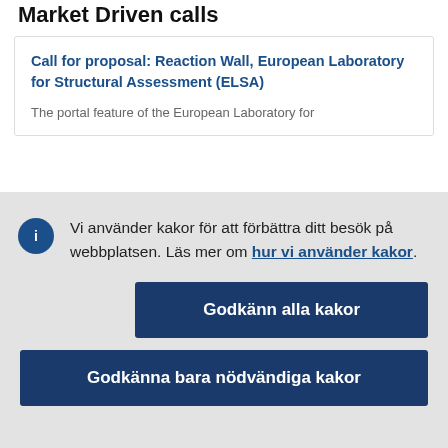Market Driven calls
Call for proposal: Reaction Wall, European Laboratory for Structural Assessment (ELSA)
The portal feature of the European Laboratory for...
Vi använder kakor för att förbättra ditt besök på webbplatsen. Läs mer om hur vi använder kakor.
Godkänn alla kakor
Godkänna bara nödvändiga kakor